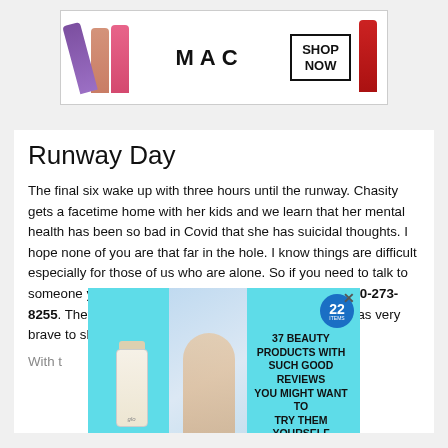[Figure (photo): MAC Cosmetics advertisement banner showing lipsticks in purple, nude, pink, and red colors with MAC logo and SHOP NOW button]
Runway Day
The final six wake up with three hours until the runway. Chasity gets a facetime home with her kids and we learn that her mental health has been so bad in Covid that she has suicidal thoughts. I hope none of you are that far in the hole. I know things are difficult especially for those of us who are alone. So if you need to talk to someone you can call The national suicide hotline 800-273-8255. They are there to listen. And so are we. Chasity was very brave to share that.
With t
[Figure (photo): Beauty product advertisement on teal background showing glo skincare product, model, badge with number 22, and text: 37 BEAUTY PRODUCTS WITH SUCH GOOD REVIEWS YOU MIGHT WANT TO TRY THEM YOURSELF]